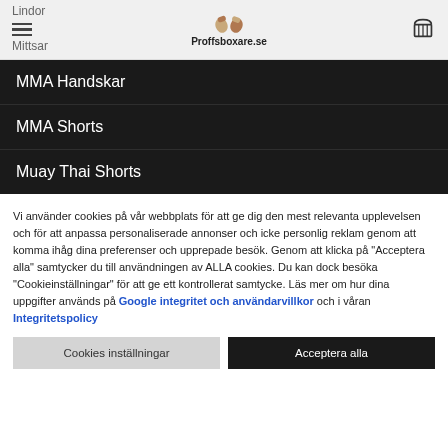Lindor
Mittsar
Proffsboxare.se
MMA Handskar
MMA Shorts
Muay Thai Shorts
Vi använder cookies på vår webbplats för att ge dig den mest relevanta upplevelsen och för att anpassa personaliserade annonser och icke personlig reklam genom att komma ihåg dina preferenser och upprepade besök. Genom att klicka på "Acceptera alla" samtycker du till användningen av ALLA cookies. Du kan dock besöka "Cookieinställningar" för att ge ett kontrollerat samtycke. Läs mer om hur dina uppgifter används på Google integritet och användarvillkor och i våran Integritetspolicy
Cookies inställningar | Acceptera alla